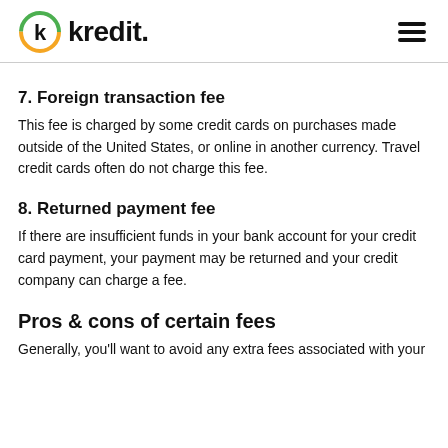kredit.
7. Foreign transaction fee
This fee is charged by some credit cards on purchases made outside of the United States, or online in another currency. Travel credit cards often do not charge this fee.
8. Returned payment fee
If there are insufficient funds in your bank account for your credit card payment, your payment may be returned and your credit company can charge a fee.
Pros & cons of certain fees
Generally, you'll want to avoid any extra fees associated with your...